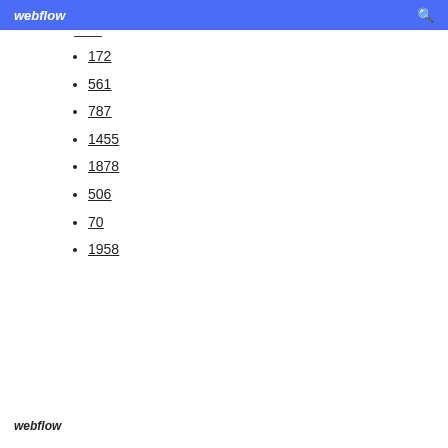webflow
172
561
787
1455
1878
506
70
1958
webflow